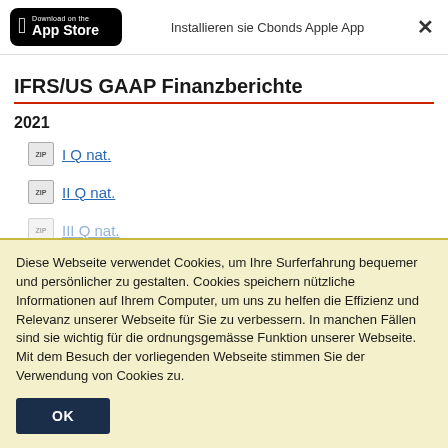[Figure (screenshot): App Store download badge with Apple logo, black background, white text 'Download on the App Store']
Installieren sie Cbonds Apple App
IFRS/US GAAP Finanzberichte
2021
I Q nat.
II Q nat.
III Q nat.
Diese Webseite verwendet Cookies, um Ihre Surferfahrung bequemer und persönlicher zu gestalten. Cookies speichern nützliche Informationen auf Ihrem Computer, um uns zu helfen die Effizienz und Relevanz unserer Webseite für Sie zu verbessern. In manchen Fällen sind sie wichtig für die ordnungsgemässe Funktion unserer Webseite. Mit dem Besuch der vorliegenden Webseite stimmen Sie der Verwendung von Cookies zu.
OK